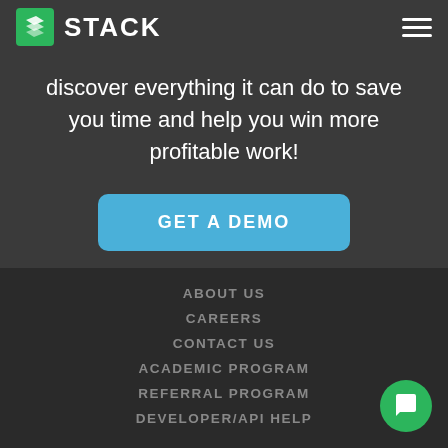[Figure (logo): STACK logo with green icon and white text]
discover everything it can do to save you time and help you win more profitable work!
GET A DEMO
ABOUT US
CAREERS
CONTACT US
ACADEMIC PROGRAM
REFERRAL PROGRAM
DEVELOPER/API HELP